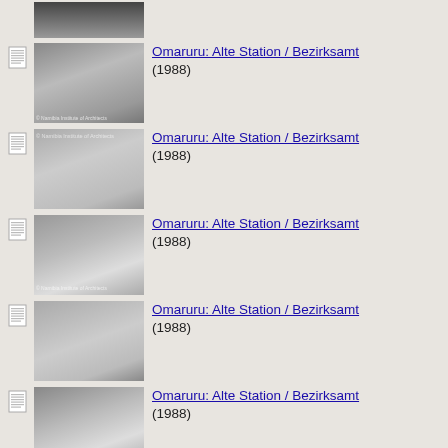[Figure (photo): Black and white photograph of a building, partially cropped at top]
Omaruru: Alte Station / Bezirksamt (1988)
Omaruru: Alte Station / Bezirksamt (1988)
Omaruru: Alte Station / Bezirksamt (1988)
Omaruru: Alte Station / Bezirksamt (1988)
Omaruru: Alte Station / Bezirksamt (1988)
Omaruru: Alte Station / Bezirksamt (1988)